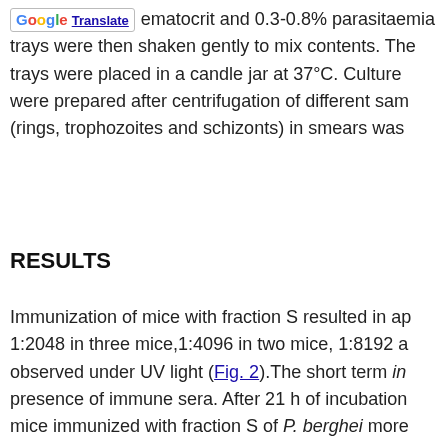hematocrit and 0.3-0.8% parasitaemia trays were then shaken gently to mix contents. The trays were placed in a candle jar at 37°C. Culture were prepared after centrifugation of different sam (rings, trophozoites and schizonts) in smears was
RESULTS
Immunization of mice with fraction S resulted in ap 1:2048 in three mice,1:4096 in two mice, 1:8192 a observed under UV light (Fig. 2).The short term in vitro presence of immune sera. After 21 h of incubation mice immunized with fraction S of P. berghei more